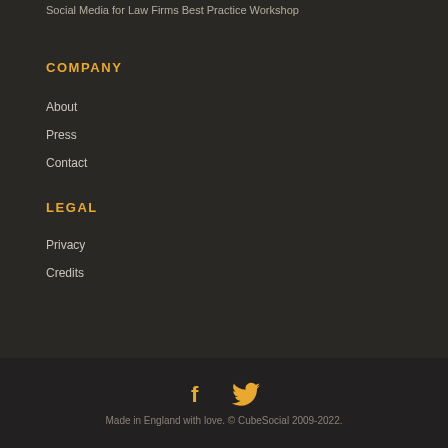Social Media for Law Firms Best Practice Workshop
COMPANY
About
Press
Contact
LEGAL
Privacy
Credits
[Figure (illustration): Social media icons: Facebook (f) and Twitter (bird) in orange/gold color]
Made in England with love. © CubeSocial 2009-2022.